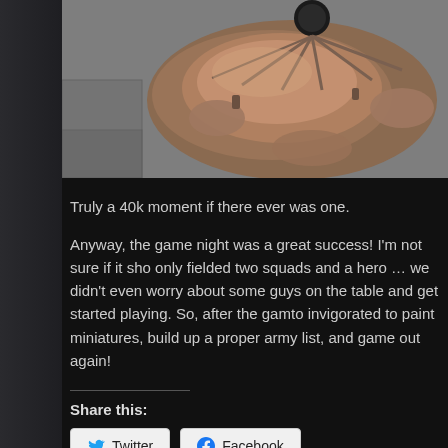[Figure (photo): Close-up photo of a detailed miniature wargaming base or terrain piece, showing textured stone-like surfaces with brownish-copper tones, small figurines or decorative elements, set against a grey granular background.]
Truly a 40k moment if there ever was one.
Anyway, the game night was a great success! I'm not sure if it sho only fielded two squads and a hero … we didn't even worry about some guys on the table and get started playing. So, after the gam to invigorated to paint miniatures, build up a proper army list, and game out again!
Share this:
Twitter
Facebook
Loading...